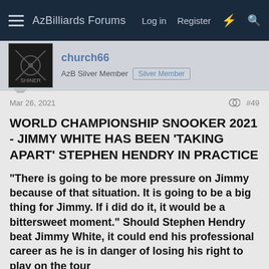AzBilliards Forums  Log in  Register
church66
AzB Silver Member  Silver Member
Mar 26, 2021  #49
WORLD CHAMPIONSHIP SNOOKER 2021 - JIMMY WHITE HAS BEEN 'TAKING APART' STEPHEN HENDRY IN PRACTICE
"There is going to be more pressure on Jimmy because of that situation. It is going to be a big thing for Jimmy. If i did do it, it would be a bittersweet moment." Should Stephen Hendry beat Jimmy White, it could end his professional career as he is in danger of losing his right to play on the tour